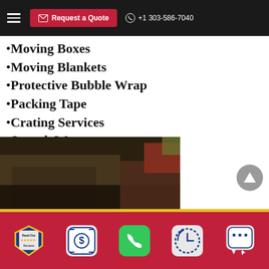Request a Quote | +1 303-586-7040
Moving Boxes
Moving Blankets
Protective Bubble Wrap
Packing Tape
Crating Services
Stretch Wrap
Reusable crates
Stretch wrap
[Figure (photo): Background photo showing a moving truck or building exterior, partially visible at bottom left]
Read Our Reviews | Quote icon | Phone | Clock/History | Chat